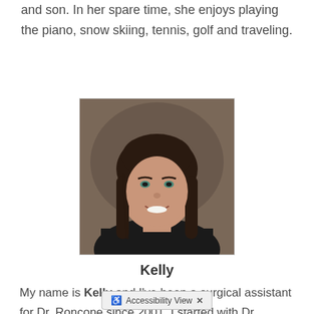and son. In her spare time, she enjoys playing the piano, snow skiing, tennis, golf and traveling.
[Figure (photo): Professional headshot of Kelly, a woman with long dark hair, wearing a black top, smiling against a brown background.]
Kelly
My name is Kelly and I've been a surgical assistant for Dr. Roncone since 2001. I started with Dr. Roncone shortly after I graduated from the dental assisting